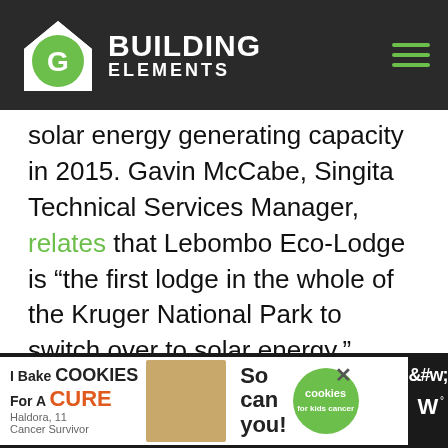[Figure (logo): Building Elements website logo with green house icon and white text on dark background header, with green hamburger menu icon on the right]
solar energy generating capacity in 2015. Gavin McCabe, Singita Technical Services Manager, relates that Lebombo Eco-Lodge is “the first lodge in the whole of the Kruger National Park to switch over to solar energy.”
Not only fully powering Lebombo’s 15 suites, the new solar installation is also powering nearby Singita
[Figure (photo): Advertisement banner at the bottom: I Bake Cookies For A Cure, with a photo of a child and a green circular badge reading 'cookies for kids cancer'. Close button (X) visible.]